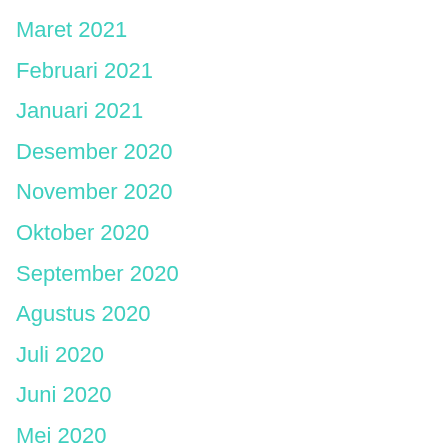Maret 2021
Februari 2021
Januari 2021
Desember 2020
November 2020
Oktober 2020
September 2020
Agustus 2020
Juli 2020
Juni 2020
Mei 2020
April 2020